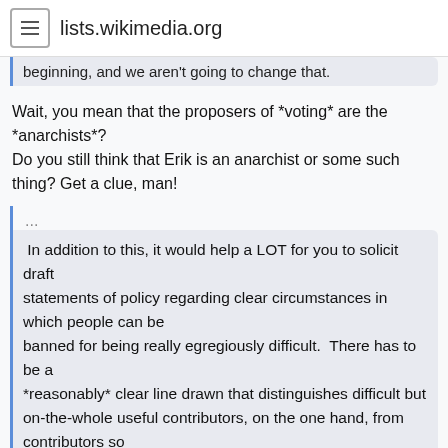lists.wikimedia.org
beginning, and we aren't going to change that.
Wait, you mean that the proposers of *voting* are the *anarchists*?
Do you still think that Erik is an anarchist or some such thing? Get a clue, man!
...
In addition to this, it would help a LOT for you to solicit draft statements of policy regarding clear circumstances in which people can be banned for being really egregiously difficult.  There has to be a *reasonably* clear line drawn that distinguishes difficult but on-the-whole useful contributors, on the one hand, from contributors so egregiously difficult that the project suffers from their continued